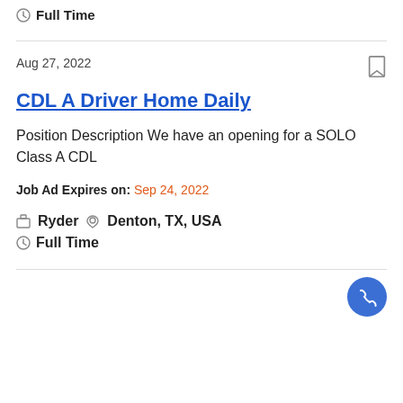Full Time
Aug 27, 2022
CDL A Driver Home Daily
Position Description We have an opening for a SOLO Class A CDL
Job Ad Expires on: Sep 24, 2022
Ryder   Denton, TX, USA
Full Time